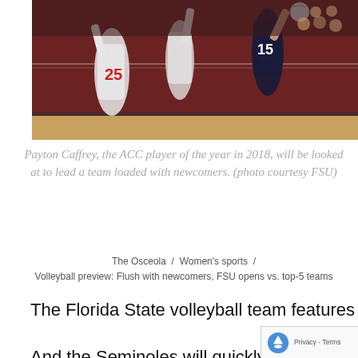[Figure (photo): Volleyball match photo showing Florida State player number 15 spiking the ball over the net against opponents wearing white jerseys with number 25. Players are jumping at the net in an indoor gymnasium with a maroon background.]
Payton Caffrey, the ACC player of the year in 2018, will be looked at to lead a team loaded with newcomers. (photo courtesy FSU)
The Osceola / Women's sports / Volleyball preview: Flush with newcomers, FSU opens vs. top-5 teams
The Florida State volleyball team features 11 newcomers on a 17-player roster.
And the Seminoles will quickly get a ga...